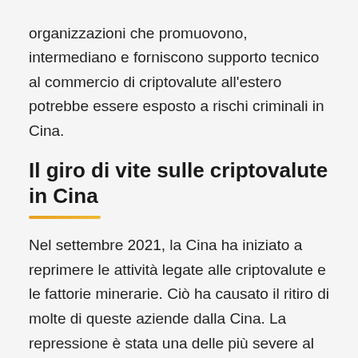organizzazioni che promuovono, intermediano e forniscono supporto tecnico al commercio di criptovalute all'estero potrebbe essere esposto a rischi criminali in Cina.
Il giro di vite sulle criptovalute in Cina
Nel settembre 2021, la Cina ha iniziato a reprimere le attività legate alle criptovalute e le fattorie minerarie. Ciò ha causato il ritiro di molte di queste aziende dalla Cina. La repressione è stata una delle più severe al mondo e ha avuto un impatto importante sull'industria delle criptovalute.
Le fattorie minerarie sono state particolarmente